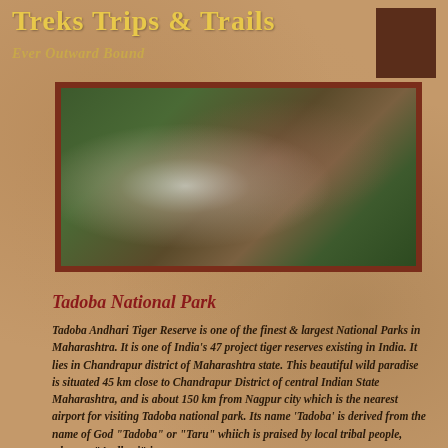Treks Trips & Trails
Ever Outward Bound
[Figure (photo): A blurred wildlife photo, likely showing a tiger or animal in a forest/jungle setting with green foliage and warm tones, framed with a dark red/brown border.]
Tadoba National Park
Tadoba Andhari Tiger Reserve is one of the finest & largest National Parks in Maharashtra. It is one of India's 47 project tiger reserves existing in India. It lies in Chandrapur district of Maharashtra state. This beautiful wild paradise is situated 45 km close to Chandrapur District of central Indian State Maharashtra, and is about 150 km from Nagpur city which is the nearest airport for visiting Tadoba national park. Its name 'Tadoba' is derived from the name of God "Tadoba" or "Taru" whiich is praised by local tribal people, whereas "Andhari" is